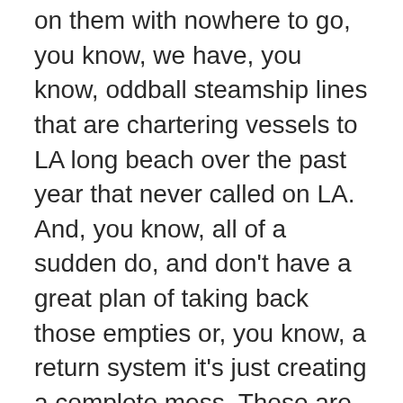on them with nowhere to go, you know, we have, you know, oddball steamship lines that are chartering vessels to LA long beach over the past year that never called on LA. And, you know, all of a sudden do, and don't have a great plan of taking back those empties or, you know, a return system it's just creating a complete mess. Those are easing back a little bit. So, I mean, I think it'll get better, but that's what we're looking at right now is that LA mess. Awesome.
Scott Luton (23:20):
And we're gonna, Hey, we're